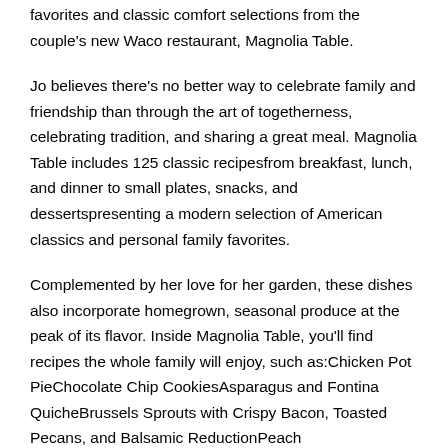favorites and classic comfort selections from the couple's new Waco restaurant, Magnolia Table.
Jo believes there's no better way to celebrate family and friendship than through the art of togetherness, celebrating tradition, and sharing a great meal. Magnolia Table includes 125 classic recipesfrom breakfast, lunch, and dinner to small plates, snacks, and dessertspresenting a modern selection of American classics and personal family favorites.
Complemented by her love for her garden, these dishes also incorporate homegrown, seasonal produce at the peak of its flavor. Inside Magnolia Table, you'll find recipes the whole family will enjoy, such as:Chicken Pot PieChocolate Chip CookiesAsparagus and Fontina QuicheBrussels Sprouts with Crispy Bacon, Toasted Pecans, and Balsamic ReductionPeach